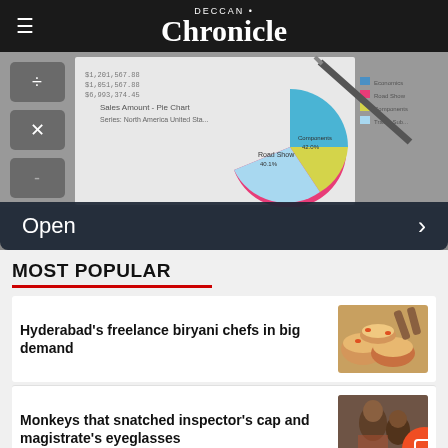Deccan Chronicle
[Figure (photo): Pie chart on financial document with a pen and calculator keyboard visible in background]
Open
MOST POPULAR
Hyderabad's freelance biryani chefs in big demand
[Figure (photo): Photo of biryani being served in large dishes]
Monkeys that snatched inspector's cap and magistrate's eyeglasses
[Figure (photo): Historical painting/photo showing a monkey]